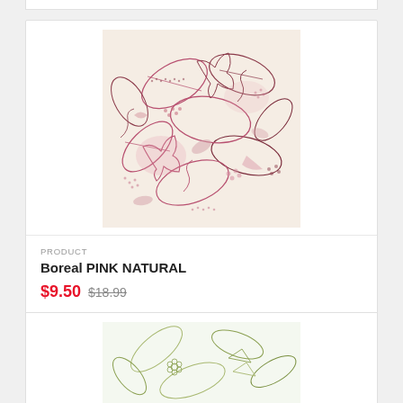[Figure (photo): Batik fabric with pink and dark red leaf patterns on a cream/natural background]
PRODUCT
Boreal PINK NATURAL
$9.50  $18.99
[Figure (photo): Partial view of a second fabric product with green/yellow floral/leaf pattern on white background]